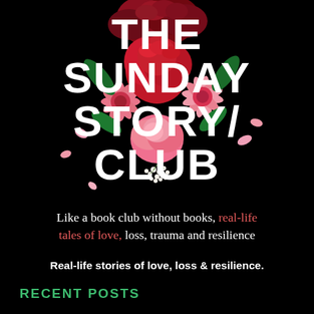[Figure (illustration): Floral arrangement with red carnations, pink gerbera daisies, deep red flowers, green leaves, pink rose petals, and small white baby's breath flowers on a black background. Pink petals are scattered around the arrangement.]
THE SUNDAY STORY CLUB
Like a book club without books, real-life tales of love, loss, trauma and resilience
Real-life stories of love, loss & resilience.
RECENT POSTS